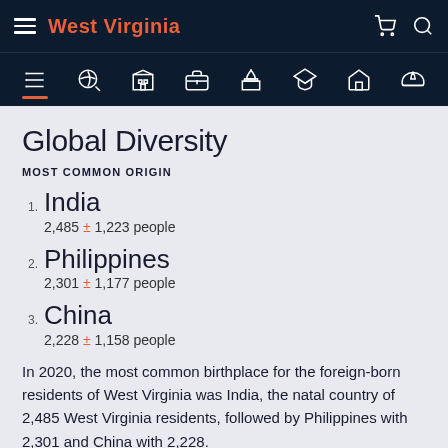West Virginia
Global Diversity
MOST COMMON ORIGIN
1. India — 2,485 ± 1,223 people
2. Philippines — 2,301 ± 1,177 people
3. China — 2,228 ± 1,158 people
In 2020, the most common birthplace for the foreign-born residents of West Virginia was India, the natal country of 2,485 West Virginia residents, followed by Philippines with 2,301 and China with 2,228.